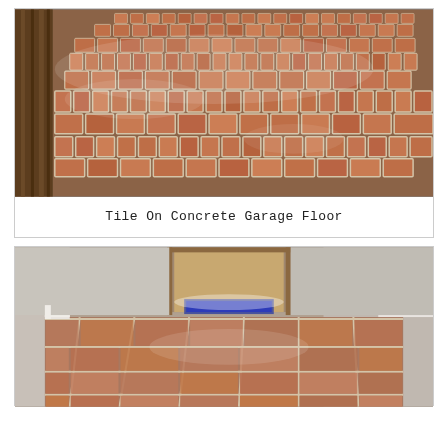[Figure (photo): Photograph of a large garage floor covered with terracotta-colored brick-pattern tiles arranged in a herringbone/basketweave layout, with light reflecting off the sealed surface. Wooden wall visible on the left side.]
Tile On Concrete Garage Floor
[Figure (photo): Photograph of a hallway or room interior with large square terracotta-colored tiles on the floor, white baseboards along the walls, and a doorway in the background showing more tile flooring. Light shines through the doorway.]